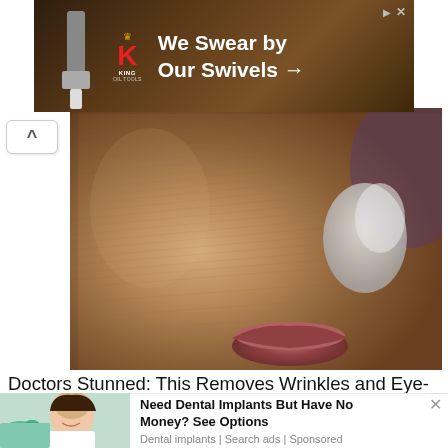[Figure (other): Advertisement banner for King Oil Tools with dark brown background, a tool image on left, red K logo in center, and white text 'We Swear by Our Swivels →']
[Figure (photo): Close-up photo of a person's face showing textured, wrinkled skin and lips, with a white cream or product applied near the mouth area]
Doctors Stunned: This Removes Wrinkles and Eye-bags Like Crazy (Try Tonight!)
Trending Stories
[Figure (photo): Thumbnail of a smiling woman at the dentist with a dental professional in green gloves examining her teeth]
Need Dental Implants But Have No Money? See Options
Dental implants | Search ads | Sponsored